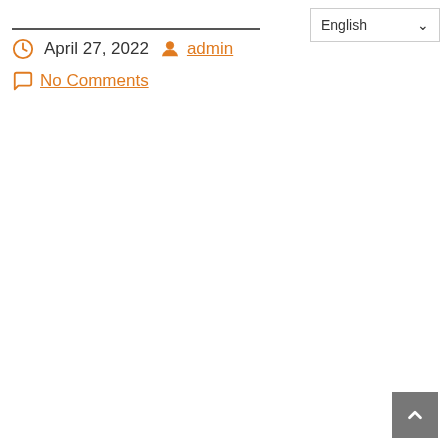English (dropdown)
April 27, 2022   admin
No Comments